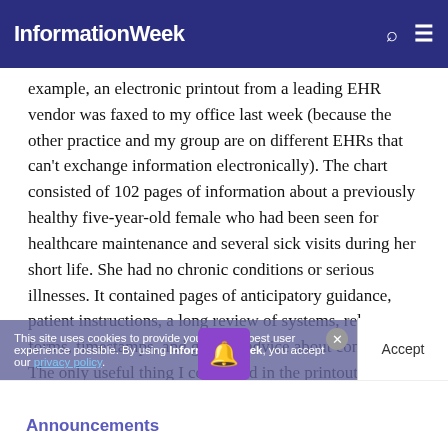InformationWeek
example, an electronic printout from a leading EHR vendor was faxed to my office last week (because the other practice and my group are on different EHRs that can't exchange information electronically). The chart consisted of 102 pages of information about a previously healthy five-year-old female who had been seen for healthcare maintenance and several sick visits during her short life. She had no chronic conditions or serious illnesses. It contained pages of anticipatory guidance, patient instructions, a long review of systems, release forms, timestamps, and generic advice about conditions. The only useful thing I could find in the printout was her immunization record, but I wasted 10 minutes discovering this.
Interestingly, in the same week, I received a faxed paper chart from a doctor who has been holding out against the trend toward digitization. 10 pages of clinically relevant content.
This site uses cookies to provide you with the best user experience possible. By using InformationWeek, you accept our privacy policy.
Announcements